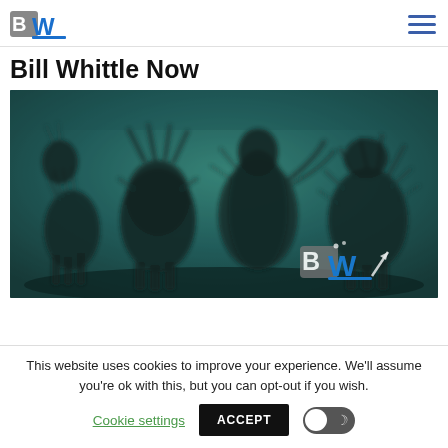BW — Bill Whittle Now
Bill Whittle Now
[Figure (illustration): Dark fantasy illustration showing four ominous dark horsemen-like figures with sharp spines and antlers, rendered in teal/dark green foggy atmosphere. BW logo watermark in lower right corner.]
This website uses cookies to improve your experience. We'll assume you're ok with this, but you can opt-out if you wish.
Cookie settings   ACCEPT